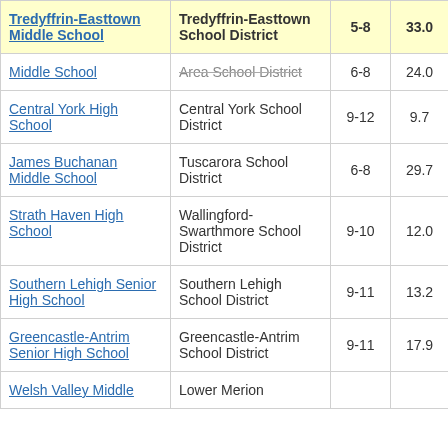| School | District | Grades | Value |
| --- | --- | --- | --- |
| Tredyffrin-Easttown Middle School | Tredyffrin-Easttown School District | 5-8 | 33.0 |
| Middle School | Area School District | 6-8 | 24.0 |
| Central York High School | Central York School District | 9-12 | 9.7 |
| James Buchanan Middle School | Tuscarora School District | 6-8 | 29.7 |
| Strath Haven High School | Wallingford-Swarthmore School District | 9-10 | 12.0 |
| Southern Lehigh Senior High School | Southern Lehigh School District | 9-11 | 13.2 |
| Greencastle-Antrim Senior High School | Greencastle-Antrim School District | 9-11 | 17.9 |
| Welsh Valley Middle | Lower Merion |  |  |